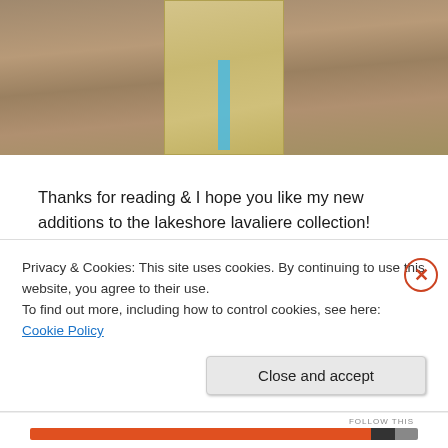[Figure (photo): Close-up photo of a kraft paper wrapped package with blue tape stripe on a wooden surface background]
Thanks for reading & I hope you like my new additions to the lakeshore lavaliere collection!
To access the listings in the lakeshore lavaliere online shop…  Just click the pictures!
Privacy & Cookies: This site uses cookies. By continuing to use this website, you agree to their use.
To find out more, including how to control cookies, see here: Cookie Policy